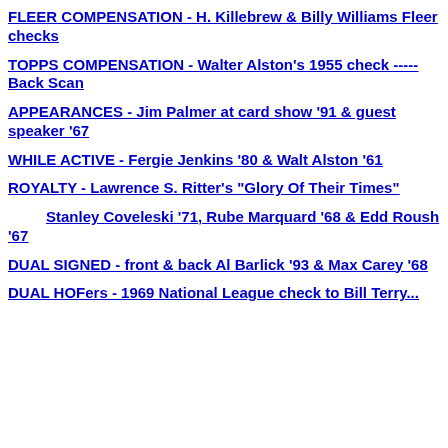FLEER COMPENSATION - H. Killebrew & Billy Williams Fleer checks
TOPPS COMPENSATION - Walter Alston's 1955 check ----- Back Scan
APPEARANCES - Jim Palmer at card show '91 & guest speaker '67
WHILE ACTIVE - Fergie Jenkins '80 & Walt Alston '61
ROYALTY - Lawrence S. Ritter's "Glory Of Their Times"
Stanley Coveleski '71, Rube Marquard '68 & Edd Roush '67
DUAL SIGNED - front & back Al Barlick '93 & Max Carey '68
DUAL HOFers - 1969 National League check to Bill Terry...